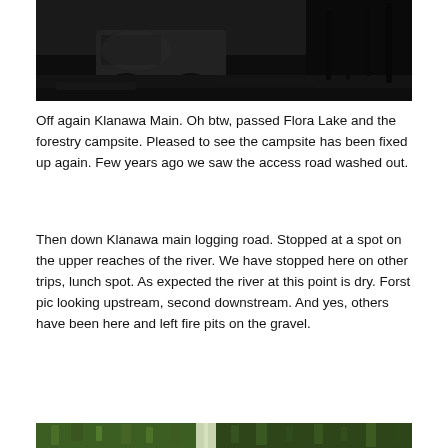[Figure (photo): Dark photograph of a vehicle (van/truck) on a rough trail surrounded by tall vegetation and debris at dusk or dawn]
Off again Klanawa Main. Oh btw, passed Flora Lake and the forestry campsite. Pleased to see the campsite has been fixed up again. Few years ago we saw the access road washed out.
Then down Klanawa main logging road. Stopped at a spot on the upper reaches of the river. We have stopped here on other trips, lunch spot. As expected the river at this point is dry. Forst pic looking upstream, second downstream. And yes, others have been here and left fire pits on the gravel.
[Figure (photo): Partially visible photograph at the bottom showing green vegetation, appears to be a riverbed or trail area]